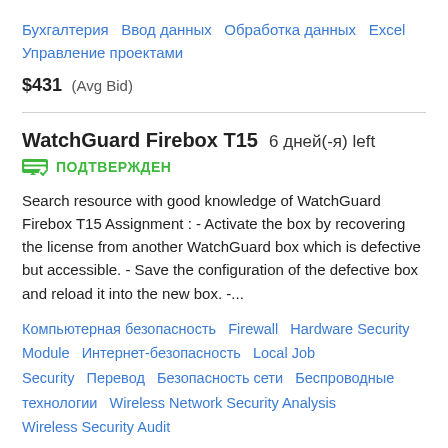Бухгалтерия   Ввод данных   Обработка данных   Excel   Управление проектами
$431  (Avg Bid)
WatchGuard Firebox T15   6 дней(-я) left
ПОДТВЕРЖДЕН
Search resource with good knowledge of WatchGuard Firebox T15 Assignment : - Activate the box by recovering the license from another WatchGuard box which is defective but accessible. - Save the configuration of the defective box and reload it into the new box. -...
Компьютерная безопасность   Firewall   Hardware Security Module   Интернет-безопасность   Local Job Security   Перевод   Безопасность сети   Беспроводные технологии   Wireless Network Security Analysis   Wireless Security Audit
$139  (Avg Bid)